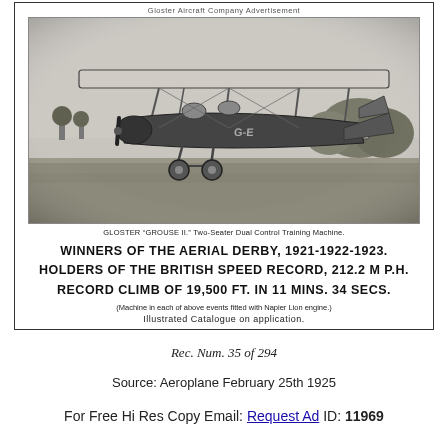Gloster Aircraft Company Advertisement
[Figure (photo): Black and white photograph of the Gloster Grouse II biplane on a grass airfield, registration G-E... visible on fuselage, trees in background.]
GLOSTER "GROUSE II." Two-Seater Dual Control Training Machine.
WINNERS OF THE AERIAL DERBY, 1921-1922-1923.
HOLDERS OF THE BRITISH SPEED RECORD, 212.2 M P.H.
RECORD CLIMB OF 19,500 FT. IN 11 MINS. 34 SECS.
(Machine in each of above events fitted with Napier Lion engine.)
Illustrated Catalogue on application.
Rec. Num. 35 of 294
Source: Aeroplane February 25th 1925
For Free Hi Res Copy Email: Request Ad ID: 11969